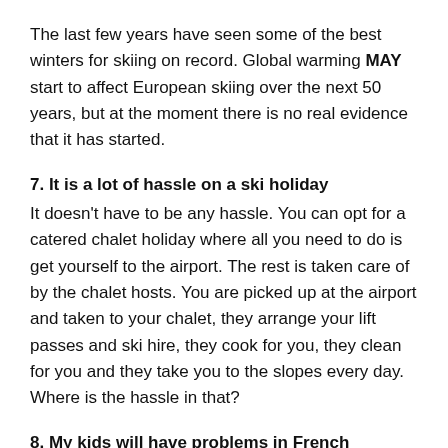The last few years have seen some of the best winters for skiing on record. Global warming MAY start to affect European skiing over the next 50 years, but at the moment there is no real evidence that it has started.
7. It is a lot of hassle on a ski holiday
It doesn't have to be any hassle. You can opt for a catered chalet holiday where all you need to do is get yourself to the airport. The rest is taken care of by the chalet hosts. You are picked up at the airport and taken to your chalet, they arrange your lift passes and ski hire, they cook for you, they clean for you and they take you to the slopes every day. Where is the hassle in that?
8. My kids will have problems in French speaking creche/ski schools
Like the point about ski instruction, things have changed